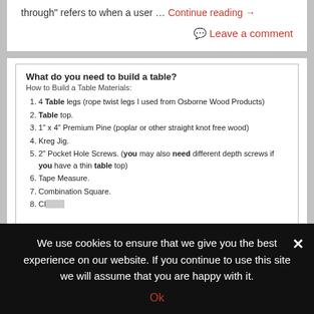through” refers to when a user … Continue reading →
💬 Leave a comment
[Figure (screenshot): Featured snippet box showing 'What do you need to build a table?' with a numbered list of materials including Table legs, Table top, 1"x4" Premium Pine, Kreg Jig, 2" Pocket Hole Screws, Tape Measure, Combination Square, Clamps. Overlaid with the beginning of a heading 'Optimizing for “People Also Ask” SEO']
We use cookies to ensure that we give you the best experience on our website. If you continue to use this site we will assume that you are happy with it.
Ok